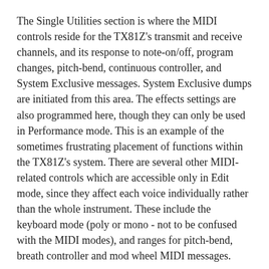The Single Utilities section is where the MIDI controls reside for the TX81Z's transmit and receive channels, and its response to note-on/off, program changes, pitch-bend, continuous controller, and System Exclusive messages. System Exclusive dumps are initiated from this area. The effects settings are also programmed here, though they can only be used in Performance mode. This is an example of the sometimes frustrating placement of functions within the TX81Z's system. There are several other MIDI-related controls which are accessible only in Edit mode, since they affect each voice individually rather than the whole instrument. These include the keyboard mode (poly or mono - not to be confused with the MIDI modes), and ranges for pitch-bend, breath controller and mod wheel MIDI messages.
When I was testing the pitch-bend response in Performance mode with a guitar controller, I had to enable the pitch-bend parameter in the Single Utilities area, and then make sure that all affected voices had the pitch-bend range set appropriately in the...